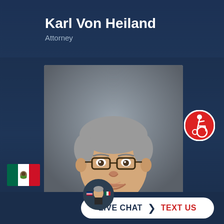Karl Von Heiland
Attorney
[Figure (photo): Professional headshot of attorney Karl Von Heiland, a middle-aged man with gray hair, wearing glasses, a dark suit jacket, white shirt, and red tie, photographed against a gray background.]
[Figure (illustration): Red circular accessibility badge/icon showing wheelchair user symbol in white]
[Figure (illustration): Mexican flag icon (green, white, red vertical stripes)]
[Figure (photo): Small circular avatar showing attorney photo with US and Mexico flag icons]
LIVE CHAT  TEXT US